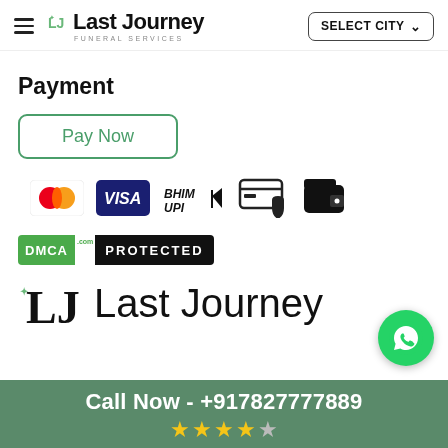Last Journey Funeral Services — SELECT CITY
Payment
Pay Now
[Figure (logo): Payment method icons: Mastercard, Visa, BHIM UPI, Secure Card, Wallet]
[Figure (logo): DMCA.com PROTECTED badge]
[Figure (logo): LJ Last Journey large logo]
[Figure (logo): WhatsApp call button]
Call Now - +917827777889 ★★★★☆